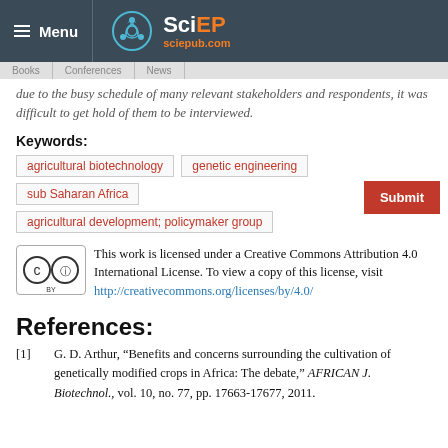Menu | SciEP sciepub.com
due to the busy schedule of many relevant stakeholders and respondents, it was difficult to get hold of them to be interviewed.
Keywords:
agricultural biotechnology
genetic engineering
sub Saharan Africa
agricultural development; policymaker group
This work is licensed under a Creative Commons Attribution 4.0 International License. To view a copy of this license, visit http://creativecommons.org/licenses/by/4.0/
References:
[1] G. D. Arthur, “Benefits and concerns surrounding the cultivation of genetically modified crops in Africa: The debate,” AFRICAN J. Biotechnol., vol. 10, no. 77, pp. 17663-17677, 2011.